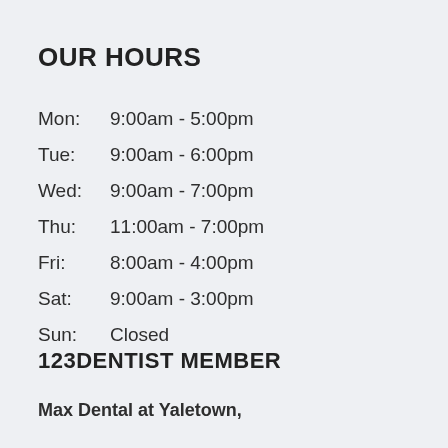OUR HOURS
| Day | Hours |
| --- | --- |
| Mon: | 9:00am - 5:00pm |
| Tue: | 9:00am - 6:00pm |
| Wed: | 9:00am - 7:00pm |
| Thu: | 11:00am - 7:00pm |
| Fri: | 8:00am - 4:00pm |
| Sat: | 9:00am - 3:00pm |
| Sun: | Closed |
123DENTIST MEMBER
Max Dental at Yaletown,